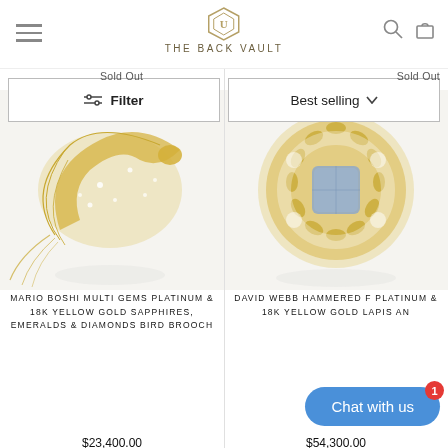THE BACK VAULT
Filter | Best selling
Sold Out
[Figure (photo): Mario Boshi jewelry bird brooch in platinum and 18K yellow gold with sapphires, emeralds and diamonds]
Sold Out
[Figure (photo): David Webb hammered platinum and 18K yellow gold lapis jewelry piece]
MARIO BOSHI MULTI GEMS PLATINUM & 18K YELLOW GOLD SAPPHIRES, EMERALDS & DIAMONDS BIRD BROOCH
$23,400.00
DAVID WEBB HAMMERED F PLATINUM & 18K YELLOW GOLD LAPIS AN...
$54,300.00
Chat with us